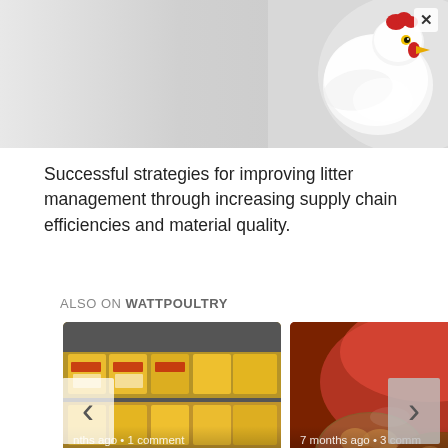[Figure (photo): Banner photo of a white chicken/hen against a light grey/white background, filling the top of the page]
Successful strategies for improving litter management through increasing supply chain efficiencies and material quality.
ALSO ON WATTPOULTRY
[Figure (photo): Thumbnail image of packaged chicken products on store shelves with yellow and red packaging]
nths ago • 1 comment
What makes a chicken marketing ...
[Figure (photo): Thumbnail image of fried chicken pieces, close-up]
7 months ago • 3 comm
KFC's Beyond Fried Chicken is a fake